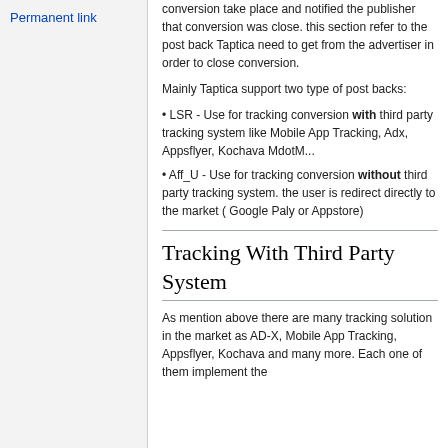Permanent link
conversion take place and notified the publisher that conversion was close. this section refer to the post back Taptica need to get from the advertiser in order to close conversion.
Mainly Taptica support two type of post backs:
• LSR - Use for tracking conversion with third party tracking system like Mobile App Tracking, Adx, Appsflyer, Kochava MdotM...
• Aff_U - Use for tracking conversion without third party tracking system. the user is redirect directly to the market ( Google Paly or Appstore)
Tracking With Third Party System
As mention above there are many tracking solution in the market as AD-X, Mobile App Tracking, Appsflyer, Kochava and many more. Each one of them implement the